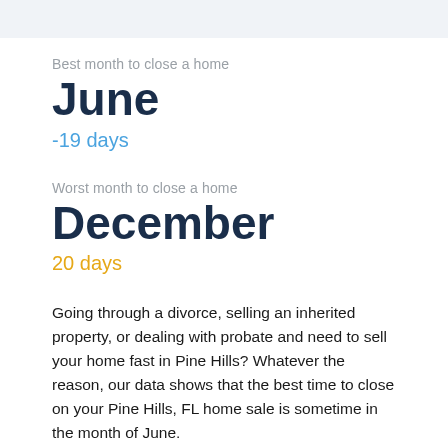Best month to close a home
June
-19 days
Worst month to close a home
December
20 days
Going through a divorce, selling an inherited property, or dealing with probate and need to sell your home fast in Pine Hills? Whatever the reason, our data shows that the best time to close on your Pine Hills, FL home sale is sometime in the month of June.